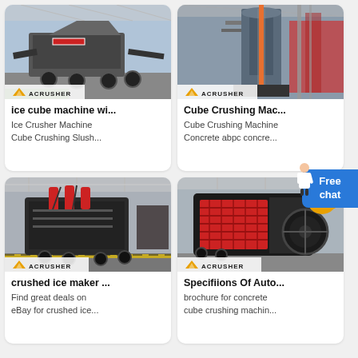[Figure (photo): Mobile jaw crusher machine on wheels in outdoor industrial setting, Acrusher brand logo at bottom]
ice cube machine wi...
Ice Crusher Machine Cube Crushing Slush...
[Figure (photo): Large vertical industrial crusher machine in factory, Acrusher brand logo at bottom]
Cube Crushing Mac...
Cube Crushing Machine Concrete abpc concre...
[Figure (photo): Heavy duty industrial crusher machine with red components in warehouse, Acrusher brand logo]
crushed ice maker ...
Find great deals on eBay for crushed ice...
[Figure (photo): Large impact crusher machine with red grate in factory, Acrusher brand, orange up-arrow badge]
Specifiions Of Auto...
brochure for concrete cube crushing machin...